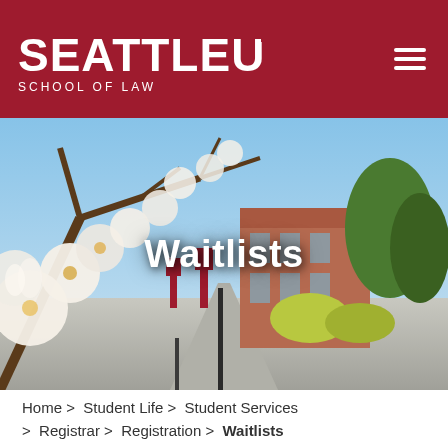SEATTLE U SCHOOL OF LAW
[Figure (photo): Campus photo showing a flowering magnolia tree with white blossoms in the foreground and a brick building in the background, blue sky, and yellow-green shrubs. Pathway leads toward the building. Overlaid with the text 'Waitlists'.]
Waitlists
Home > Student Life > Student Services > Registrar > Registration > Waitlists